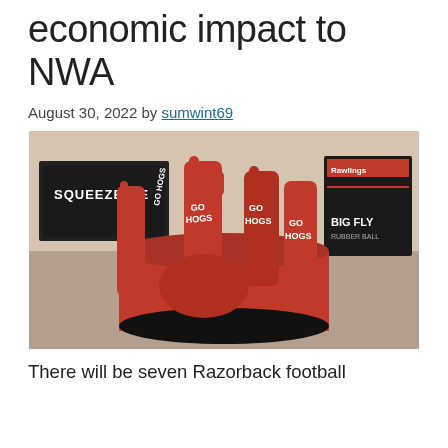economic impact to NWA
August 30, 2022 by sumwint69
[Figure (photo): Red foam 'Go Hogs' foam fingers in a round red and black bucket, with a 'Squeeze Me' sign and 'Big Fly' product box in the background. Multiple foam fingers read 'GO HOGS'.]
There will be seven Razorback football